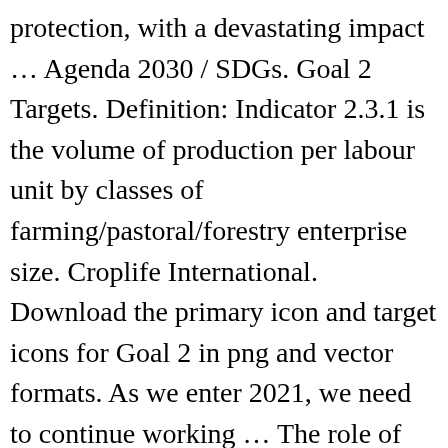protection, with a devastating impact … Agenda 2030 / SDGs. Goal 2 Targets. Definition: Indicator 2.3.1 is the volume of production per labour unit by classes of farming/pastoral/forestry enterprise size. Croplife International. Download the primary icon and target icons for Goal 2 in png and vector formats. As we enter 2021, we need to continue working … The role of business Food and agriculture are at the heart of civilization and prosperity. SDG 4 is to ensure inclusive and equitable quality education and promote lifelong learning opportunities for all and more …